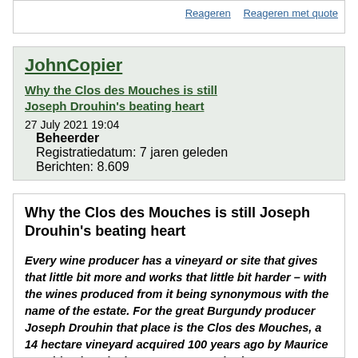Reageren    Reageren met quote
JohnCopier
Why the Clos des Mouches is still Joseph Drouhin's beating heart
27 July 2021 19:04
Beheerder
Registratiedatum: 7 jaren geleden
Berichten: 8.609
Why the Clos des Mouches is still Joseph Drouhin's beating heart
Every wine producer has a vineyard or site that gives that little bit more and works that little bit harder – with the wines produced from it being synonymous with the name of the estate. For the great Burgundy producer Joseph Drouhin that place is the Clos des Mouches, a 14 hectare vineyard acquired 100 years ago by Maurice Drouhin, that sits between Corton Charlemagne, Pommard and Puligny Montrachet. The red and white Premier Cru wines that come from this rare monopole are legendary in Burgundy, but that wasn't always the case. In the 1980s the family realised the soil was dying and something had to be